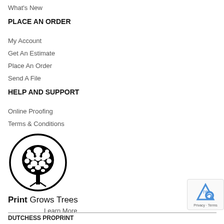What's New
PLACE AN ORDER
My Account
Get An Estimate
Place An Order
Send A File
HELP AND SUPPORT
Online Proofing
Terms & Conditions
[Figure (logo): Print Grows Trees logo: a tree inside a circle]
Print Grows Trees
Learn More
DUTCHESS PROPRINT